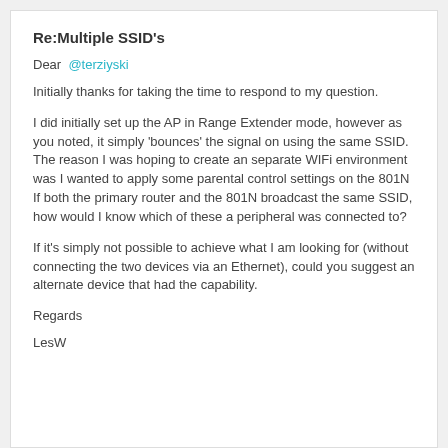Re:Multiple SSID's
Dear @terziyski
Initially thanks for taking the time to respond to my question.
I did initially set up the AP in Range Extender mode, however as you noted, it simply 'bounces' the signal on using the same SSID.
The reason I was hoping to create an separate WIFi environment was I wanted to apply some parental control settings on the 801N
If both the primary router and the 801N broadcast the same SSID, how would I know which of these a peripheral was connected to?
If it's simply not possible to achieve what I am looking for (without connecting the two devices via an Ethernet), could you suggest an alternate device that had the capability.
Regards
LesW